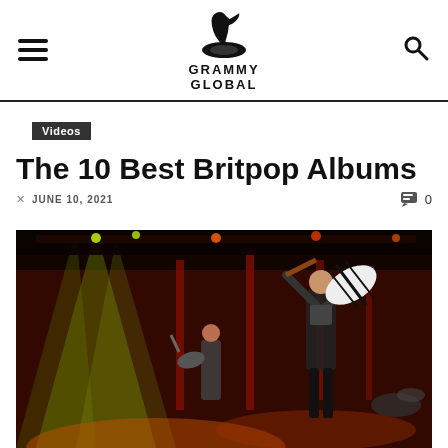Grammy Global
Videos
The 10 Best Britpop Albums
JUNE 10, 2021  0
[Figure (photo): Concert photo of musicians performing on stage with dramatic stage lighting including yellow-green and red lights, one guitarist in foreground holding a guitar aloft, another musician in background.]